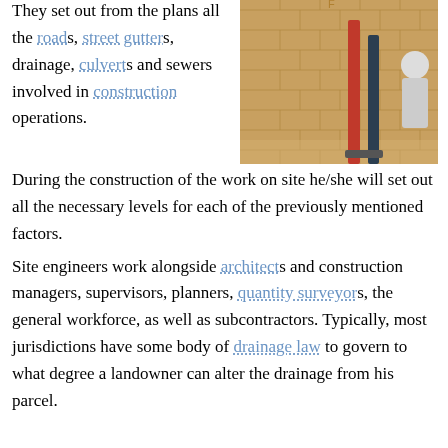They set out from the plans all the roads, street gutters, drainage, culverts and sewers involved in construction operations. During the construction of the work on site he/she will set out all the necessary levels for each of the previously mentioned factors.
[Figure (photo): Photo of drainage pipes (red and blue/black) mounted on a brick wall with a person partially visible]
Site engineers work alongside architects and construction managers, supervisors, planners, quantity surveyors, the general workforce, as well as subcontractors. Typically, most jurisdictions have some body of drainage law to govern to what degree a landowner can alter the drainage from his parcel.